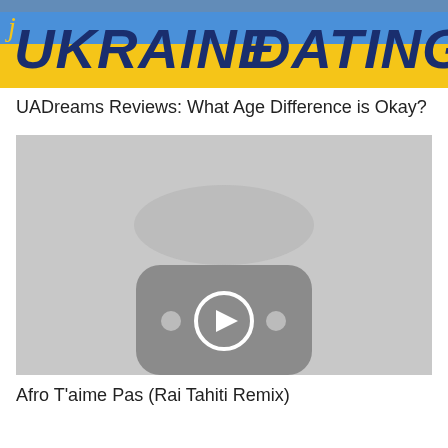[Figure (photo): Ukraine Dating banner image with blue and yellow background, bold italic text reading UKRAINE DATING]
UADreams Reviews: What Age Difference is Okay?
[Figure (screenshot): Video thumbnail placeholder showing a gray background with a YouTube-style play button icon in the center]
Afro T'aime Pas (Rai Tahiti Remix)